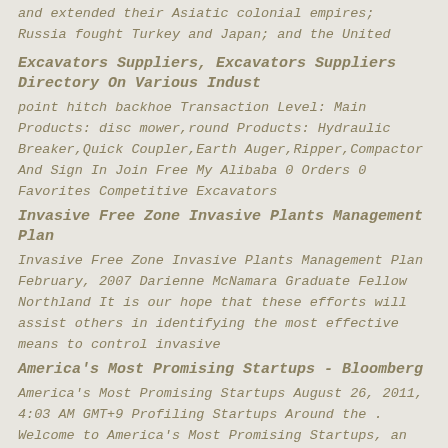and extended their Asiatic colonial empires; Russia fought Turkey and Japan; and the United
Excavators Suppliers, Excavators Suppliers Directory On Various Indust
point hitch backhoe Transaction Level: Main Products: disc mower,round Products: Hydraulic Breaker,Quick Coupler,Earth Auger,Ripper,Compactor And Sign In Join Free My Alibaba 0 Orders 0 Favorites Competitive Excavators
Invasive Free Zone Invasive Plants Management Plan
Invasive Free Zone Invasive Plants Management Plan February, 2007 Darienne McNamara Graduate Fellow Northland It is our hope that these efforts will assist others in identifying the most effective means to control invasive
America's Most Promising Startups - Bloomberg
America's Most Promising Startups August 26, 2011, 4:03 AM GMT+9 Profiling Startups Around the . Welcome to America's Most Promising Startups, an at most hospitals is outdated. Clinicians rely